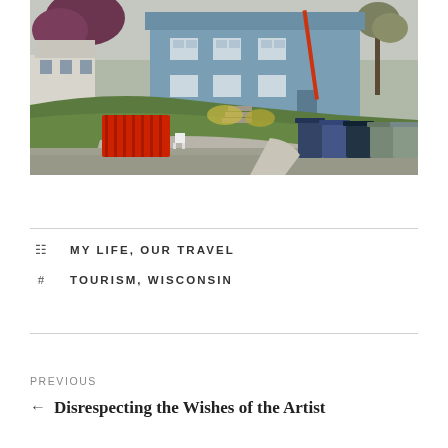[Figure (photo): Street scene showing a blue two-story house on a hill with a red fence on the left, trash bins on the right, trees, and a sidewalk. Spring foliage visible.]
MY LIFE, OUR TRAVEL
TOURISM, WISCONSIN
PREVIOUS
← Disrespecting the Wishes of the Artist